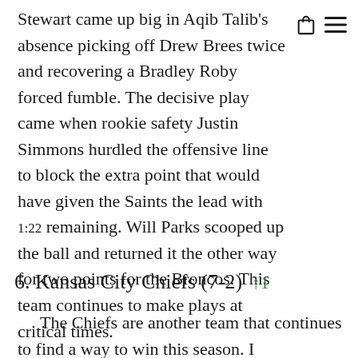Stewart came up big in Aqib Talib's absence picking off Drew Brees twice and recovering a Bradley Roby forced fumble. The decisive play came when rookie safety Justin Simmons hurdled the offensive line to block the extra point that would have given the Saints the lead with 1:22 remaining. Will Parks scooped up the ball and returned it the other way for two points for the Broncos. This team continues to make plays at critical times.
6. Kansas City Chiefs (7-2) ↑1
The Chiefs are another team that continues to find a way to win this season. I